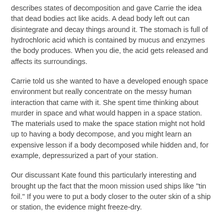describes states of decomposition and gave Carrie the idea that dead bodies act like acids. A dead body left out can disintegrate and decay things around it. The stomach is full of hydrochloric acid which is contained by mucus and enzymes the body produces. When you die, the acid gets released and affects its surroundings.
Carrie told us she wanted to have a developed enough space environment but really concentrate on the messy human interaction that came with it. She spent time thinking about murder in space and what would happen in a space station. The materials used to make the space station might not hold up to having a body decompose, and you might learn an expensive lesson if a body decomposed while hidden and, for example, depressurized a part of your station.
Our discussant Kate found this particularly interesting and brought up the fact that the moon mission used ships like "tin foil." If you were to put a body closer to the outer skin of a ship or station, the evidence might freeze-dry.